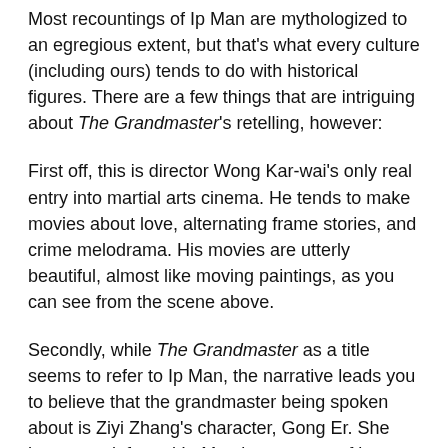Most recountings of Ip Man are mythologized to an egregious extent, but that's what every culture (including ours) tends to do with historical figures. There are a few things that are intriguing about The Grandmaster's retelling, however:
First off, this is director Wong Kar-wai's only real entry into martial arts cinema. He tends to make movies about love, alternating frame stories, and crime melodrama. His movies are utterly beautiful, almost like moving paintings, as you can see from the scene above.
Secondly, while The Grandmaster as a title seems to refer to Ip Man, the narrative leads you to believe that the grandmaster being spoken about is Ziyi Zhang's character, Gong Er. She has even defeated Ip Man in a contest of kung fu. She is a woman, however, and so cannot inherit the traditions or certifications of a Chinese martial arts school. Because of China's attitude toward women, the style her family practiced dies with her, while Ip Man's style is free to live on through him. In this way,